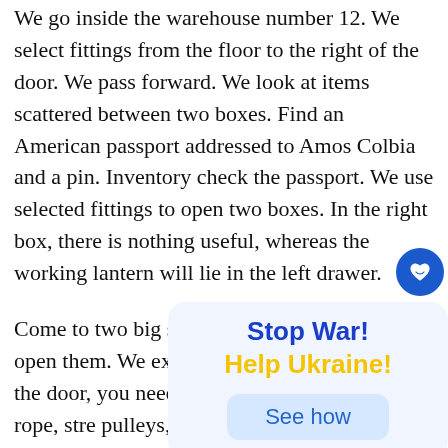We go inside the warehouse number 12. We select fittings from the floor to the right of the door. We pass forward. We look at items scattered between two boxes. Find an American passport addressed to Amos Colbia and a pin. Inventory check the passport. We use selected fittings to open two boxes. In the right box, there is nothing useful, whereas the working lantern will lie in the left drawer.
Come to two big sash on the floor. We try to open them. We explore the tracks jus To open the door, you need to p look at and detect the rope, stre pulleys, boiler and crane next to boards under the boiler. Boiler m crane. To the right of the door on the water supply
[Figure (infographic): Popup overlay with a blue circular icon with a heart, and a light blue rounded box containing 'Stop War!' in bold blue, 'Help Ukraine!' in bold yellow, and a 'See how' button in a lighter blue box.]